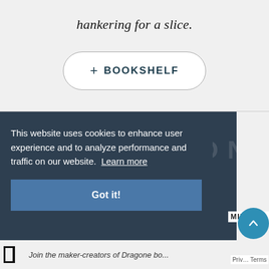hankering for a slice.
+ BOOKSHELF
This website uses cookies to enhance user experience and to analyze performance and traffic on our website. Learn more
Got it!
MIERI
Join the maker-creators of Dragone bo...